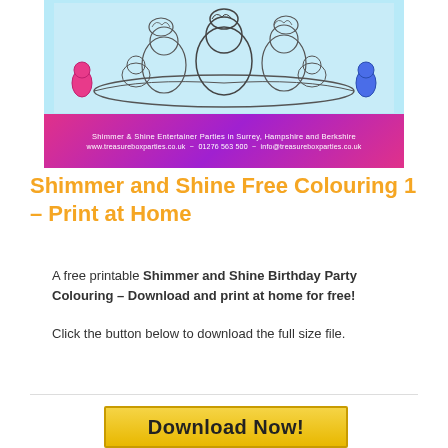[Figure (illustration): Shimmer and Shine coloring page thumbnail showing cartoon genie characters on a magic carpet, with a pink/purple banner at the bottom reading website and contact details for Treasure Box Parties in Surrey, Hampshire and Berkshire]
Shimmer and Shine Free Colouring 1 – Print at Home
A free printable Shimmer and Shine Birthday Party Colouring – Download and print at home for free!
Click the button below to download the full size file.
[Figure (other): Download Now! button with yellow/gold background]